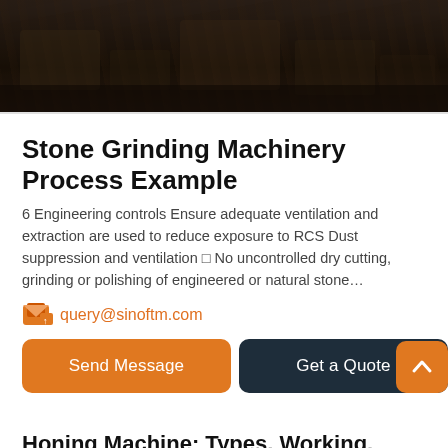[Figure (photo): Dark photo of stone grinding machinery or construction site with earthmoving equipment, dark tones of brown and black]
Stone Grinding Machinery Process Example
6 Engineering controls Ensure adequate ventilation and extraction are used to reduce exposure to RCS Dust suppression and ventilation □ No uncontrolled dry cutting, grinding or polishing of engineered or natural stone…
query@sinoftm.com
Send Message   Get a Quote
Honing Machine: Types, Working, Tools, Operations Pdf…